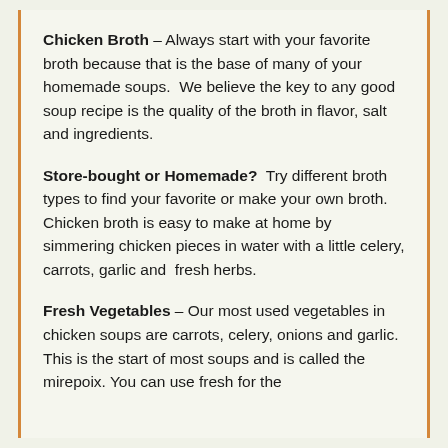Chicken Broth – Always start with your favorite broth because that is the base of many of your homemade soups.  We believe the key to any good soup recipe is the quality of the broth in flavor, salt and ingredients.
Store-bought or Homemade?  Try different broth types to find your favorite or make your own broth. Chicken broth is easy to make at home by simmering chicken pieces in water with a little celery, carrots, garlic and  fresh herbs.
Fresh Vegetables – Our most used vegetables in chicken soups are carrots, celery, onions and garlic.  This is the start of most soups and is called the mirepoix. You can use fresh or...